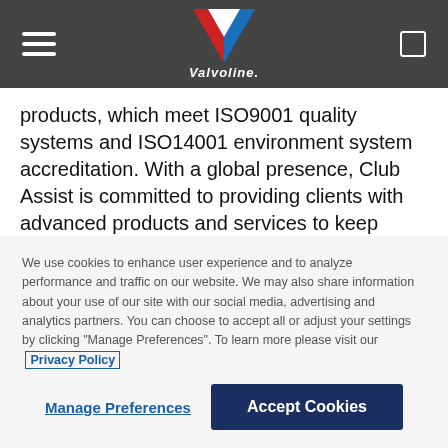[Figure (logo): Valvoline logo — red and blue chevron V shape with 'Valvoline' text below, on dark grey navigation bar with hamburger menu icon on left and square icon on right]
products, which meet ISO9001 quality systems and ISO14001 environment system accreditation. With a global presence, Club Assist is committed to providing clients with advanced products and services to keep them ahead of the rapidly evolving automotive industry. To learn more, visit clubassist.com.
™ Trademark, Valvoline or its subsidiaries, registered in various countries
We use cookies to enhance user experience and to analyze performance and traffic on our website. We may also share information about your use of our site with our social media, advertising and analytics partners. You can choose to accept all or adjust your settings by clicking "Manage Preferences". To learn more please visit our Privacy Policy
Manage Preferences | Accept Cookies